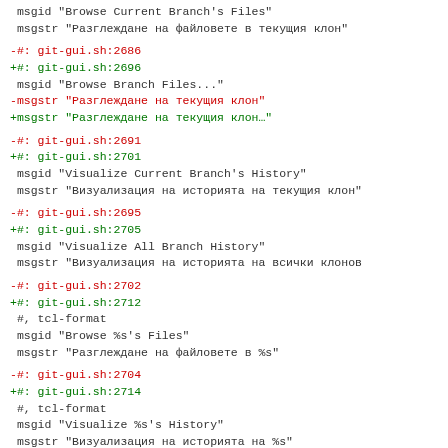msgid "Browse Current Branch's Files"
 msgstr "Разглеждане на файловете в текущия клон"
-#: git-gui.sh:2686
+#: git-gui.sh:2696
 msgid "Browse Branch Files..."
-msgstr "Разглеждане на текущия клон"
+msgstr "Разглеждане на текущия клон…"
-#: git-gui.sh:2691
+#: git-gui.sh:2701
 msgid "Visualize Current Branch's History"
 msgstr "Визуализация на историята на текущия клон"
-#: git-gui.sh:2695
+#: git-gui.sh:2705
 msgid "Visualize All Branch History"
 msgstr "Визуализация на историята на всички клонов
-#: git-gui.sh:2702
+#: git-gui.sh:2712
 #, tcl-format
 msgid "Browse %s's Files"
 msgstr "Разглеждане на файловете в %s"
-#: git-gui.sh:2704
+#: git-gui.sh:2714
 #, tcl-format
 msgid "Visualize %s's History"
 msgstr "Визуализация на историята на %s"